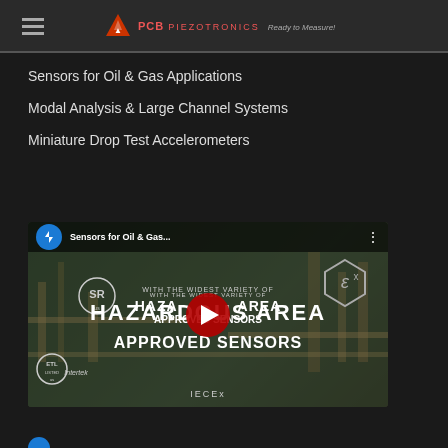PCB Piezotronics — Ready to Measure!
Sensors for Oil & Gas Applications
Modal Analysis & Large Channel Systems
Miniature Drop Test Accelerometers
[Figure (screenshot): YouTube video thumbnail for 'Sensors for Oil & Gas...' showing industrial plant background with text 'WITH THE WIDEST VARIETY OF HAZARDOUS AREA APPROVED SENSORS' and certifications ETL, IECEx, Ex. Red play button in center. Blue waveform logo icon in top left.]